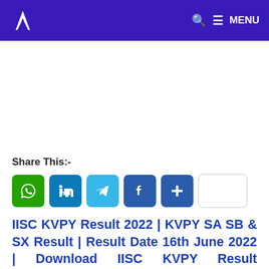A [logo] | Q ≡ MENU
[Figure (other): Advertisement placeholder area (blank white space)]
Share This:-
[Figure (other): Social share buttons: WhatsApp (green), LinkedIn (blue), Telegram (light blue), Facebook (dark blue), More/Plus (dark blue), blank button (white outlined)]
IISC KVPY Result 2022 | KVPY SA SB & SX Result | Result Date 16th June 2022 | Download IISC KVPY Result @kvpy.iisc.ernet.in